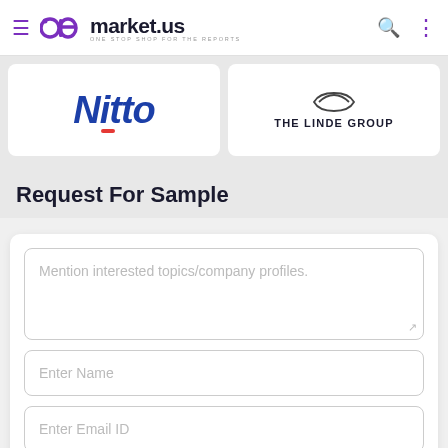market.us – ONE STOP SHOP FOR THE REPORTS
[Figure (logo): Nitto company logo – blue italic bold text with red underline accent]
[Figure (logo): The Linde Group logo – decorative swirl above text THE LINDE GROUP]
Request For Sample
Mention interested topics/company profiles.
Enter Name
Enter Email ID
Select Country